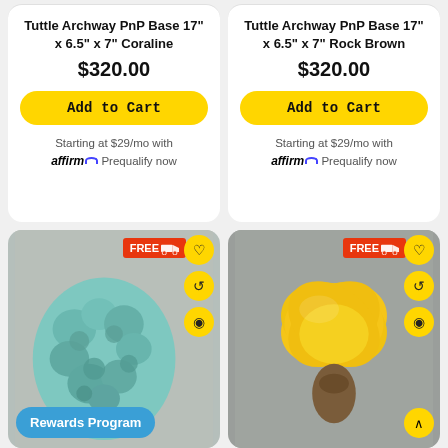Tuttle Archway PnP Base 17" x 6.5" x 7" Coraline
$320.00
Add to Cart
Starting at $29/mo with affirm. Prequalify now
Tuttle Archway PnP Base 17" x 6.5" x 7" Rock Brown
$320.00
Add to Cart
Starting at $29/mo with affirm. Prequalify now
[Figure (photo): Teal/blue textured coral-like sculpture on gray background with FREE shipping badge, heart/refresh/eye action buttons, and Rewards Program badge]
[Figure (photo): Yellow flower/mushroom shaped sculpture on gray background with FREE shipping badge, heart/refresh/eye/up-arrow action buttons]